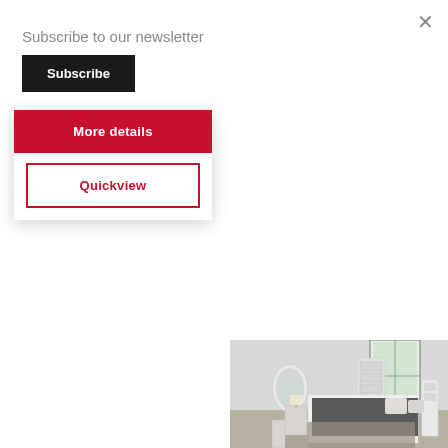Subscribe to our newsletter
Subscribe
More details
Quickview
[Figure (photo): Bedroom furniture showroom photo showing a modern white bed with dark mattress, bedside tables with lamps, a tall chest of drawers, and an oval mirror, photographed against a window with natural light]